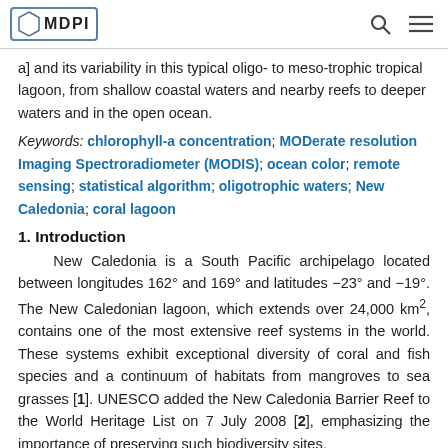MDPI
a] and its variability in this typical oligo- to meso-trophic tropical lagoon, from shallow coastal waters and nearby reefs to deeper waters and in the open ocean.
Keywords: chlorophyll-a concentration; MODerate resolution Imaging Spectroradiometer (MODIS); ocean color; remote sensing; statistical algorithm; oligotrophic waters; New Caledonia; coral lagoon
1. Introduction
New Caledonia is a South Pacific archipelago located between longitudes 162° and 169° and latitudes −23° and −19°. The New Caledonian lagoon, which extends over 24,000 km2, contains one of the most extensive reef systems in the world. These systems exhibit exceptional diversity of coral and fish species and a continuum of habitats from mangroves to sea grasses [1]. UNESCO added the New Caledonia Barrier Reef to the World Heritage List on 7 July 2008 [2], emphasizing the importance of preserving such biodiversity sites.